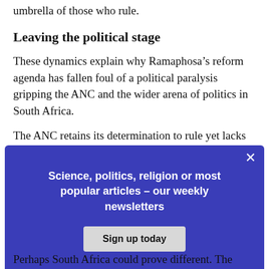umbrella of those who rule.
Leaving the political stage
These dynamics explain why Ramaphosa’s reform agenda has fallen foul of a political paralysis gripping the ANC and the wider arena of politics in South Africa.
The ANC retains its determination to rule yet lacks the capacity to do so effectively. The only way out of the dilemma is its defeat in an election.
[Figure (other): Modal newsletter signup overlay with blue background. Title: 'Science, politics, religion or most popular articles – our weekly newsletters'. Button: 'Sign up today'. Close button (x) in top-right.]
However, as the experience of Zimbabwe has shown, defeat of a ruling movement in an election does not guarantee its removal from power so long as it retains control of the military, police and security services.
Perhaps South Africa could prove different. The